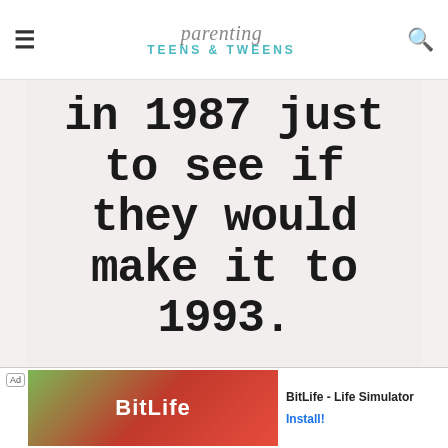parenting TEENS & TWEENS
[Figure (illustration): Quote image on light pink/beige background reading: 'in 1987 just to see if they would make it to 1993.' with attribution 'momsoftweensandteens.com']
momsoftweensandteens.com
Ad | BitLife - Life Simulator | Install!